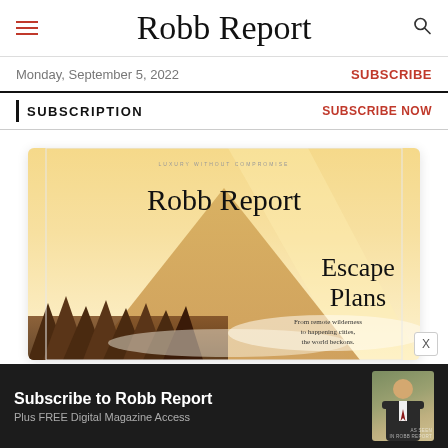Robb Report
Monday, September 5, 2022
SUBSCRIBE
SUBSCRIPTION
SUBSCRIBE NOW
[Figure (illustration): Robb Report magazine cover showing 'Escape Plans' issue with mountain wilderness landscape in warm golden tones, tagline 'From remote wilderness to happening cities, the world beckons.']
Subscribe to Robb Report Plus FREE Digital Magazine Access